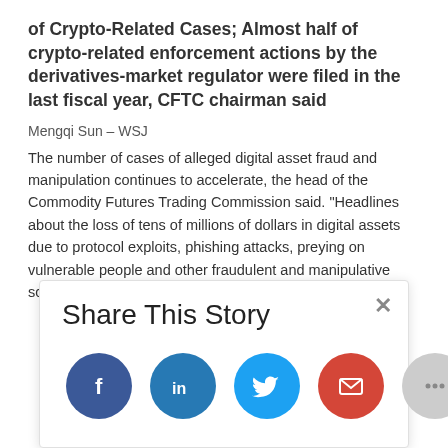of Crypto-Related Cases; Almost half of crypto-related enforcement actions by the derivatives-market regulator were filed in the last fiscal year, CFTC chairman said
Mengqi Sun – WSJ
The number of cases of alleged digital asset fraud and manipulation continues to accelerate, the head of the Commodity Futures Trading Commission said. "Headlines about the loss of tens of millions of dollars in digital assets due to protocol exploits, phishing attacks, preying on vulnerable people and other fraudulent and manipulative schemes have
[Figure (infographic): Share This Story overlay panel with social media sharing buttons: Facebook (dark blue), LinkedIn (blue), Twitter (light blue), Email (red), and More (gray with ellipsis). A close (×) button is in the top right corner.]